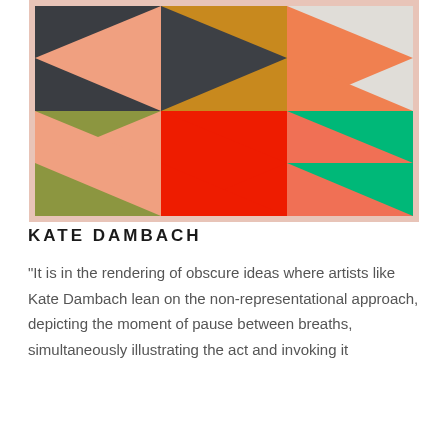[Figure (illustration): A geometric abstract painting in a light pink/salmon frame. The painting is divided into a 3x2 grid of colored rectangles with diagonal triangular shapes overlapping across them. Colors include dark charcoal/black, mustard/amber, light grey/white, olive/yellow-green, salmon/peach, bright red/orange-red, coral/salmon, and emerald/teal green. The triangles create arrow-like or chevron shapes pointing left across the grid.]
KATE DAMBACH
“It is in the rendering of obscure ideas where artists like Kate Dambach lean on the non-representational approach, depicting the moment of pause between breaths, simultaneously illustrating the act and invoking it